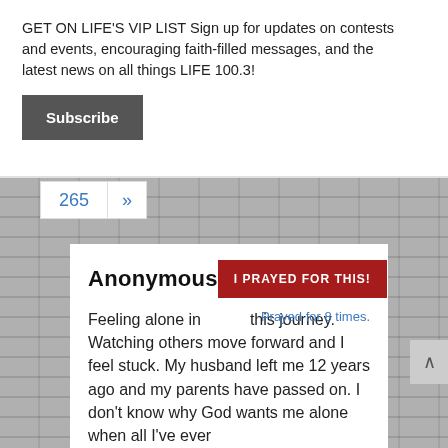GET ON LIFE'S VIP LIST Sign up for updates on contests and events, encouraging faith-filled messages, and the latest news on all things LIFE 100.3!
Subscribe
265 »
Anonymous
I PRAYED FOR THIS!
Prayed for 8 times.
Feeling alone in this journey. Watching others move forward and I feel stuck. My husband left me 12 years ago and my parents have passed on. I don't know why God wants me alone when all I've ever